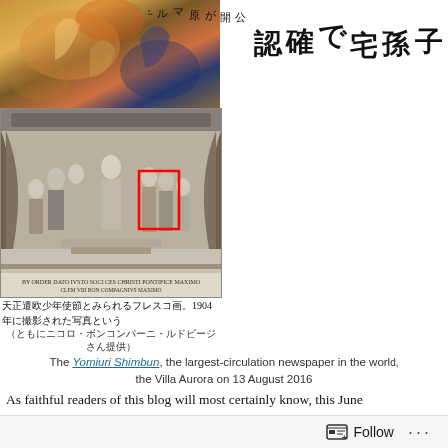[Figure (photo): Top portion: color detail of a fresco painting with warm orange, blue and gold tones. Below: black and white photograph of a fresco scene showing multiple robed figures in a Renaissance-style architectural setting, with a red rectangle highlighting two figures on the right side. Described as a fresco of the Tensho Embassy of youths (天正遣欧少年使節), photographed in 1904.]
天正遣欧少年使節とみられるフレスコ画。1904年に撮影された写真という
（ともにニコロ・ボンコンパーニ・ルドビージさん提供）
が原マルチノとみられるフレスコ画の一部。
子孫宅で確認
The Yomiuri Shimbun, the largest-circulation newspaper in the world, the Villa Aurora on 13 August 2016
As faithful readers of this blog will most certainly know, this June the Villa Aurora in Rome along-hidden fresco cycle showing scen XIII Boncompagni, including his reception of the (Jesuit-inspired)